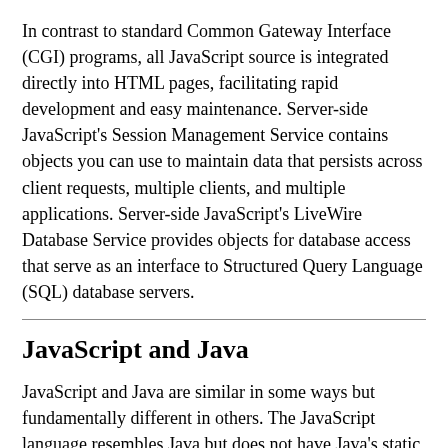In contrast to standard Common Gateway Interface (CGI) programs, all JavaScript source is integrated directly into HTML pages, facilitating rapid development and easy maintenance. Server-side JavaScript's Session Management Service contains objects you can use to maintain data that persists across client requests, multiple clients, and multiple applications. Server-side JavaScript's LiveWire Database Service provides objects for database access that serve as an interface to Structured Query Language (SQL) database servers.
JavaScript and Java
JavaScript and Java are similar in some ways but fundamentally different in others. The JavaScript language resembles Java but does not have Java's static typing and strong type checking. JavaScript supports most Java expression syntax and basic control-flow constructs.
In contrast to Java's compile-time system of classes built by declarations, JavaScript supports a runtime system based on a small number of data types representing numeric, Boolean, and string values. JavaScript has a prototype-based object model instead of the more common class-based object model. The